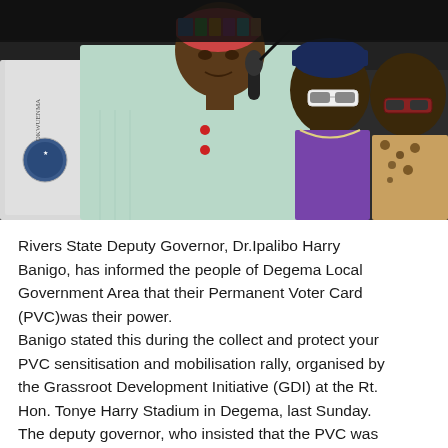[Figure (photo): Rivers State Deputy Governor Dr. Ipalibo Harry Banigo speaking into a microphone at a rally, surrounded by other officials and women in sunglasses, with a crowd in the background.]
Rivers State Deputy Governor, Dr.Ipalibo Harry Banigo, has informed the people of Degema Local Government Area that their Permanent Voter Card (PVC)was their power.
Banigo stated this during the collect and protect your PVC sensitisation and mobilisation rally, organised by the Grassroot Development Initiative (GDI) at the Rt. Hon. Tonye Harry Stadium in Degema, last Sunday.
The deputy governor, who insisted that the PVC was key